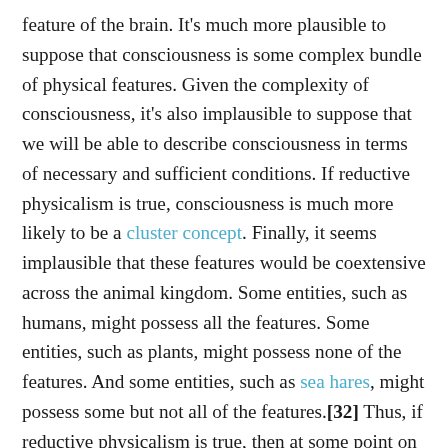feature of the brain. It's much more plausible to suppose that consciousness is some complex bundle of physical features. Given the complexity of consciousness, it's also implausible to suppose that we will be able to describe consciousness in terms of necessary and sufficient conditions. If reductive physicalism is true, consciousness is much more likely to be a cluster concept. Finally, it seems implausible that these features would be coextensive across the animal kingdom. Some entities, such as humans, might possess all the features. Some entities, such as plants, might possess none of the features. And some entities, such as sea hares, might possess some but not all of the features.[32] Thus, if reductive physicalism is true, then at some point on the phylogenetic tree, it will probably be semantically indeterminate whether a given species is conscious. We